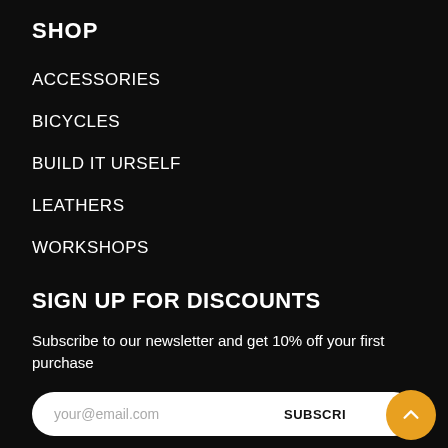SHOP
ACCESSORIES
BICYCLES
BUILD IT URSELF
LEATHERS
WORKSHOPS
SIGN UP FOR DISCOUNTS
Subscribe to our newsletter and get 10% off your first purchase
your@email.com    SUBSCRI